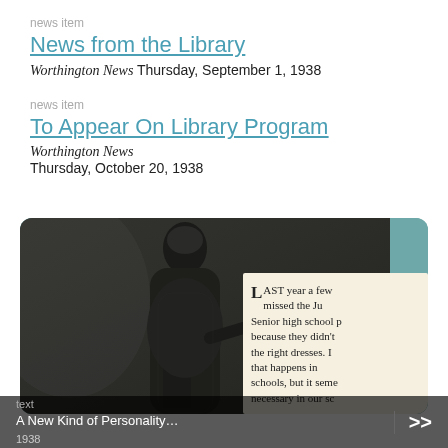news item
News from the Library
Worthington News Thursday, September 1, 1938
news item
To Appear On Library Program
Worthington News
Thursday, October 20, 1938
[Figure (photo): Black and white photograph of two women, one standing and one seated, with a newspaper clipping overlay showing text beginning with 'LAST year a few missed the Ju Senior high school p because they didn't the right dresses. I that happens in schools, but it seme necessary in our sc' and partial text 'Mrs. Rob M']
text
A New Kind of Personality…
1938